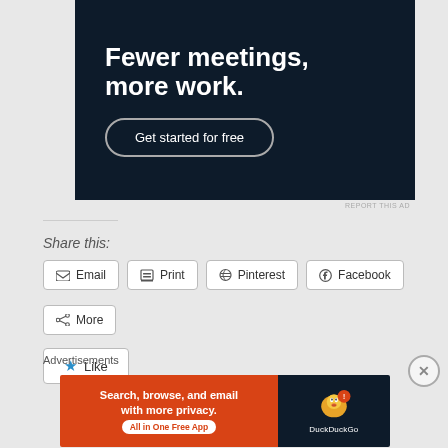[Figure (screenshot): Advertisement banner with dark navy background. Large white bold text reads 'Fewer meetings, more work.' with a pill-shaped button 'Get started for free']
REPORT THIS AD
Share this:
Email
Print
Pinterest
Facebook
More
Like
Advertisements
[Figure (screenshot): DuckDuckGo advertisement banner. Orange left section: 'Search, browse, and email with more privacy. All in One Free App'. Dark right section with DuckDuckGo duck logo and brand name.]